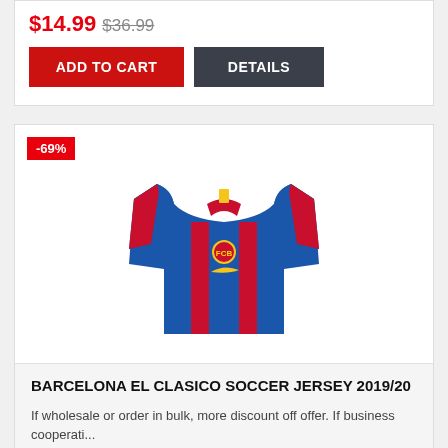$14.99 $36.99
ADD TO CART | DETAILS
[Figure (photo): Barcelona El Clasico soccer jersey 2019/20 — blue and red vertical striped Nike football shirt with FCB crest]
-69%
BARCELONA EL CLASICO SOCCER JERSEY 2019/20
If wholesale or order in bulk, more discount off offer. If business cooperati...
$22.99 $76.99